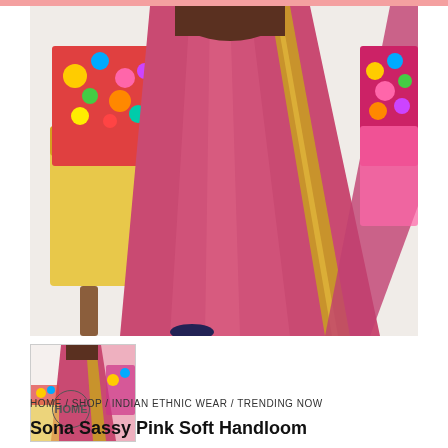[Figure (photo): Woman wearing a pink silk saree with gold zari border, seated near a colorful floral sofa against a white background. The saree is a bright rose/magenta pink with golden woven patterns along the border and pallu.]
[Figure (photo): Thumbnail of the same woman in pink saree, full body view showing the saree draped traditionally with a colorful background.]
HOME / SHOP / INDIAN ETHNIC WEAR / TRENDING NOW
Sona Sassy Pink Soft Handloom